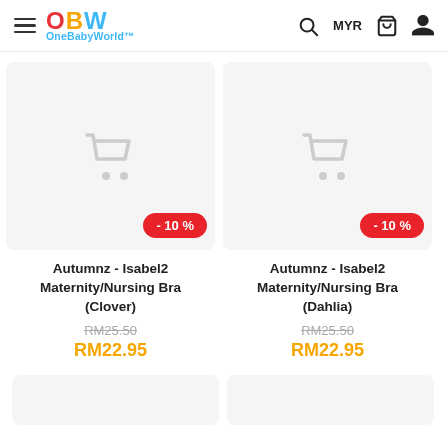OneBabyWorld – MYR – navigation header
[Figure (photo): Product image placeholder (grey box with cart icon) for Autumnz Isabel2 Maternity/Nursing Bra (Clover) with -10% red badge]
Autumnz - Isabel2 Maternity/Nursing Bra (Clover)
RM25.50 (original price, strikethrough)
RM22.95 (sale price)
[Figure (photo): Product image placeholder (grey box with cart icon) for Autumnz Isabel2 Maternity/Nursing Bra (Dahlia) with -10% red badge]
Autumnz - Isabel2 Maternity/Nursing Bra (Dahlia)
RM25.50 (original price, strikethrough)
RM22.95 (sale price)